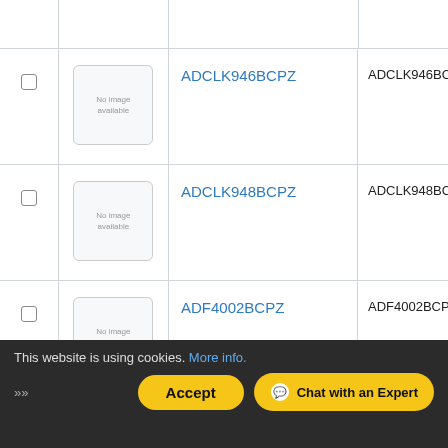|  |  | Part Name / Description | MPN |  |
| --- | --- | --- | --- | --- |
|  | No image available | ADCLK946BCPZ | ADCLK946BCPZ |  |
|  | No image available | ADCLK948BCPZ | ADCLK948BCPZ |  |
|  | No image available | ADF4002BCPZ | ADF4002BCPZ |  |
1 2 3 4 5 6 7 8 9 10 »
This website is using cookies. More info.
Accept
Chat with an Expert
»»